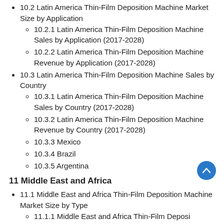10.2 Latin America Thin-Film Deposition Machine Market Size by Application
10.2.1 Latin America Thin-Film Deposition Machine Sales by Application (2017-2028)
10.2.2 Latin America Thin-Film Deposition Machine Revenue by Application (2017-2028)
10.3 Latin America Thin-Film Deposition Machine Sales by Country
10.3.1 Latin America Thin-Film Deposition Machine Sales by Country (2017-2028)
10.3.2 Latin America Thin-Film Deposition Machine Revenue by Country (2017-2028)
10.3.3 Mexico
10.3.4 Brazil
10.3.5 Argentina
11 Middle East and Africa
11.1 Middle East and Africa Thin-Film Deposition Machine Market Size by Type
11.1.1 Middle East and Africa Thin-Film Deposition Machine...